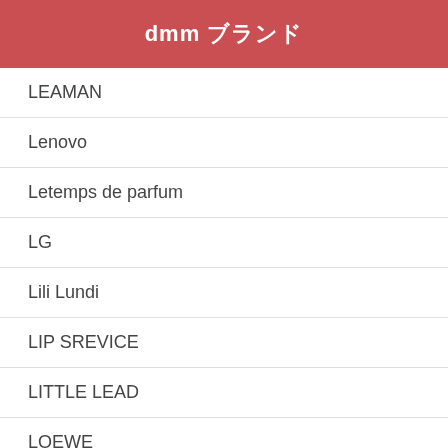dmm ブランド
LEAMAN
Lenovo
Letemps de parfum
LG
Lili Lundi
LIP SREVICE
LITTLE LEAD
LOEWE
LOUIS VUITTON